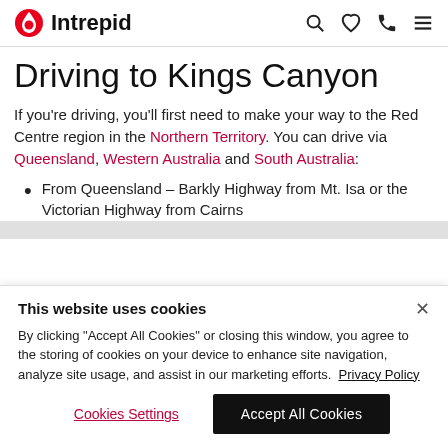Intrepid (navigation header with logo and icons)
Driving to Kings Canyon
If you're driving, you'll first need to make your way to the Red Centre region in the Northern Territory. You can drive via Queensland, Western Australia and South Australia:
From Queensland – Barkly Highway from Mt. Isa or the Victorian Highway from Cairns
This website uses cookies
By clicking "Accept All Cookies" or closing this window, you agree to the storing of cookies on your device to enhance site navigation, analyze site usage, and assist in our marketing efforts. Privacy Policy
Cookies Settings | Accept All Cookies